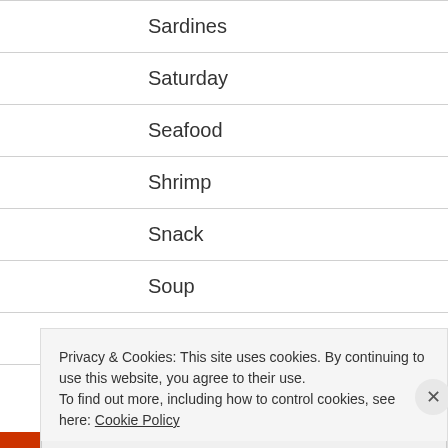Sardines
Saturday
Seafood
Shrimp
Snack
Soup
Spices
Ste...
Privacy & Cookies: This site uses cookies. By continuing to use this website, you agree to their use.
To find out more, including how to control cookies, see here: Cookie Policy
Close and accept